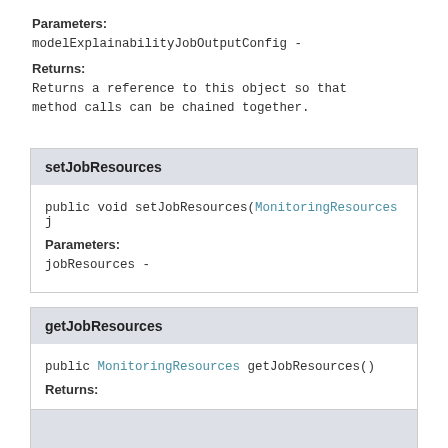Parameters:
modelExplainabilityJobOutputConfig -
Returns:
Returns a reference to this object so that method calls can be chained together.
setJobResources
public void setJobResources(MonitoringResources j
Parameters:
jobResources -
getJobResources
public MonitoringResources getJobResources()
Returns: